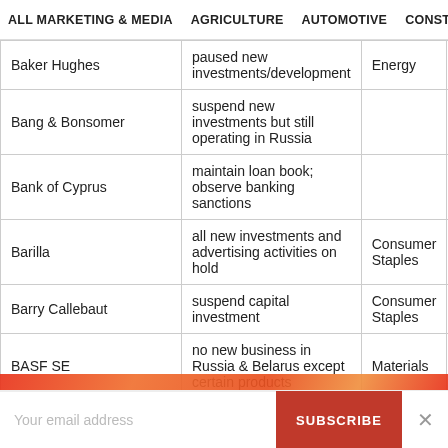ALL MARKETING & MEDIA   AGRICULTURE   AUTOMOTIVE   CONSTRUCTION
| Company | Action | Sector | Country |
| --- | --- | --- | --- |
| Baker Hughes | paused new investments/development | Energy | United States |
| Bang & Bonsomer | suspend new investments but still operating in Russia |  | Finland |
| Bank of Cyprus | maintain loan book; observe banking sanctions |  | Cyprus |
| Barilla | all new investments and advertising activities on hold | Consumer Staples | Italy |
| Barry Callebaut | suspend capital investment | Consumer Staples | Switzerland |
| BASF SE | no new business in Russia & Belarus except certain products | Materials | Germany |
| Bayer | stopping unspecified non-essential business activity | Health Care | Germany |
Your email address  SUBSCRIBE  ×